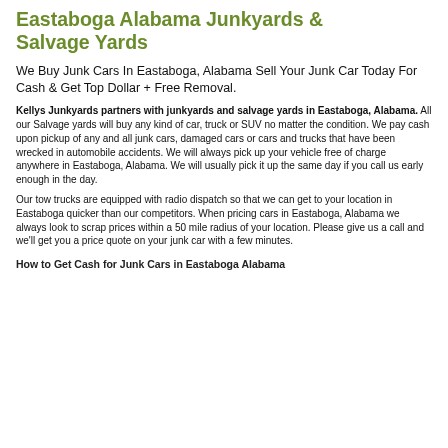Eastaboga Alabama Junkyards & Salvage Yards
We Buy Junk Cars In Eastaboga, Alabama Sell Your Junk Car Today For Cash & Get Top Dollar + Free Removal.
Kellys Junkyards partners with junkyards and salvage yards in Eastaboga, Alabama. All our Salvage yards will buy any kind of car, truck or SUV no matter the condition. We pay cash upon pickup of any and all junk cars, damaged cars or cars and trucks that have been wrecked in automobile accidents. We will always pick up your vehicle free of charge anywhere in Eastaboga, Alabama. We will usually pick it up the same day if you call us early enough in the day.
Our tow trucks are equipped with radio dispatch so that we can get to your location in Eastaboga quicker than our competitors. When pricing cars in Eastaboga, Alabama we always look to scrap prices within a 50 mile radius of your location. Please give us a call and we'll get you a price quote on your junk car with a few minutes.
How to Get Cash for Junk Cars in Eastaboga Alabama